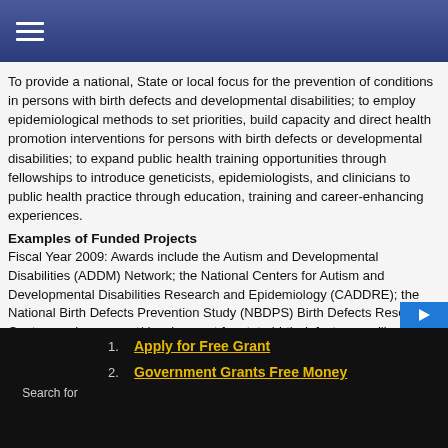To provide a national, State or local focus for the prevention of conditions in persons with birth defects and developmental disabilities; to employ epidemiological methods to set priorities, build capacity and direct health promotion interventions for persons with birth defects or developmental disabilities; to expand public health training opportunities through fellowships to introduce geneticists, epidemiologists, and clinicians to public health practice through education, training and career-enhancing experiences.
Examples of Funded Projects
Fiscal Year 2009: Awards include the Autism and Developmental Disabilities (ADDM) Network; the National Centers for Autism and Developmental Disabilities Research and Epidemiology (CADDRE); the National Birth Defects Prevention Study (NBDPS) Birth Defects Research Centers; enhancement/development for state birth defects surveillance systems; development of guidelines and education materials; public health conference support; public health genetics training.
Search for
1. Apply for Free Grant
2. Government Grants Free Money